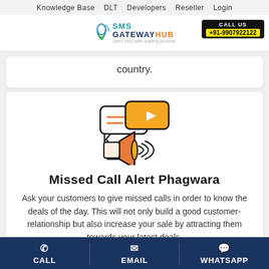Knowledge Base  DLT  Developers  Reseller  Login
[Figure (logo): SMS GatewayHub logo with phone icon and tagline]
[Figure (infographic): Call us box with phone number +91-9907922122]
country.
[Figure (illustration): Megaphone and speech bubble with video play button icon]
Missed Call Alert Phagwara
Ask your customers to give missed calls in order to know the deals of the day. This will not only build a good customer-relationship but also increase your sale by attracting them towards your latest deals.
CALL   EMAIL   WHATSAPP